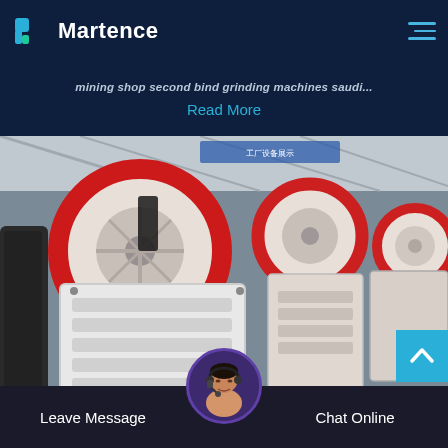Martence
mining shop second bind grinding machines saudi...
Read More
[Figure (photo): Industrial jaw crushers with large red and black flywheels in a factory setting. Multiple heavy-duty crushing machines are shown in a manufacturing hall with steel structure overhead.]
Leave Message
Chat Online